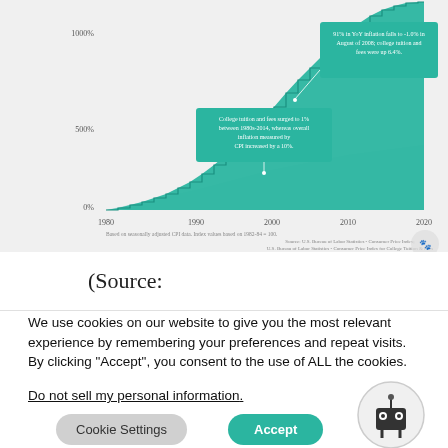[Figure (area-chart): Area chart showing college tuition and fees vs CPI inflation from 1980 to 2020. Tuition rises steeply to ~1000%, CPI rises gently to ~250%.]
(Source:
We use cookies on our website to give you the most relevant experience by remembering your preferences and repeat visits. By clicking "Accept", you consent to the use of ALL the cookies.
Do not sell my personal information.